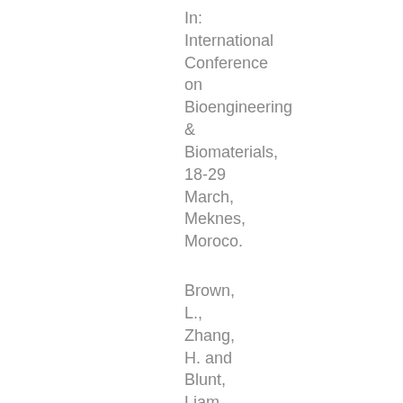In: International Conference on Bioengineering & Biomaterials, 18-29 March, Meknes, Moroco.
Brown, L., Zhang, H. and Blunt, Liam (2009) Investigation of a